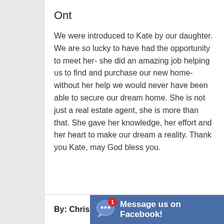Ont
We were introduced to Kate by our daughter. We are so lucky to have had the opportunity to meet her- she did an amazing job helping us to find and purchase our new home- without her help we would never have been able to secure our dream home. She is not just a real estate agent, she is more than that. She gave her knowledge, her effort and her heart to make our dream a reality. Thank you Kate, may God bless you.
By: Chris & Ka
Message us on Facebook!